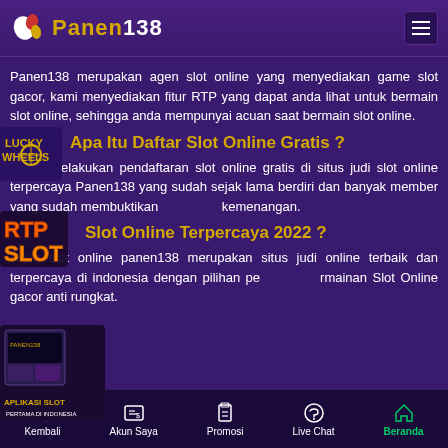Panen138
Panen138 merupakan agen slot online yang menyediakan game slot gacor, kami menyediakan fitur RTP yang dapat anda lihat untuk bermain slot online, sehingga anda mempunyai acuan saat bermain slot online.
Apa Itu Daftar Slot Online Gratis ?
Untuk melakukan pendaftaran slot online gratis di situs judi slot online terpercaya Panen138 yang sudah sejak lama berdiri dan banyak member yang sudah membuktikan kemenangan.
Slot Online Terpercaya 2022 ?
Agen slot online panen138 merupakan situs judi online terbaik dan terpercaya di indonesia dengan pilihan permainan Slot Online gacor anti rungkat.
[Figure (screenshot): Lucky Wheels game icon overlay]
[Figure (screenshot): RTP Slot game icon overlay]
[Figure (screenshot): Slot game icon overlay]
[Figure (screenshot): Aplikasi Slot mobile app screenshot]
Kembali | Akun Saya | Promosi | Live Chat | Beranda